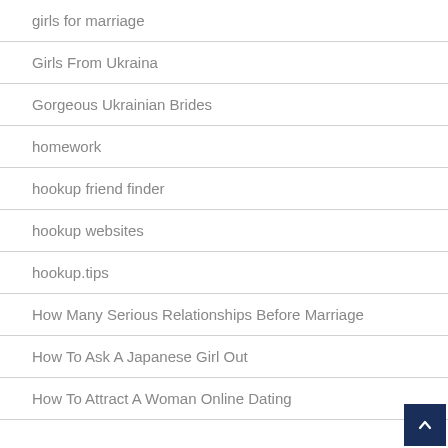girls for marriage
Girls From Ukraina
Gorgeous Ukrainian Brides
homework
hookup friend finder
hookup websites
hookup.tips
How Many Serious Relationships Before Marriage
How To Ask A Japanese Girl Out
How To Attract A Woman Online Dating